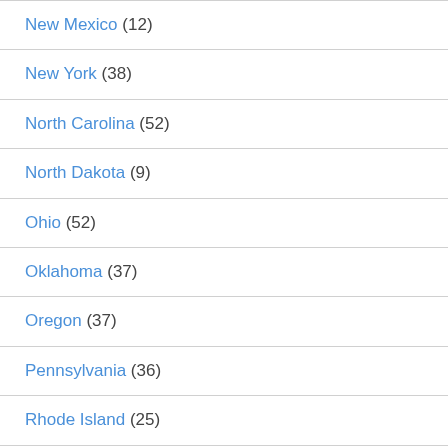New Mexico (12)
New York (38)
North Carolina (52)
North Dakota (9)
Ohio (52)
Oklahoma (37)
Oregon (37)
Pennsylvania (36)
Rhode Island (25)
South Carolina (28)
South Dakota (5)